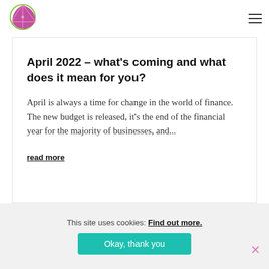[Figure (logo): Purple lemon/lime slice logo mark]
April 2022 – what's coming and what does it mean for you?
April is always a time for change in the world of finance. The new budget is released, it's the end of the financial year for the majority of businesses, and...
read more
This site uses cookies: Find out more.